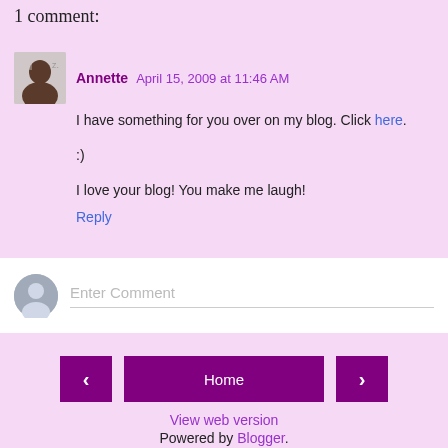1 comment:
Annette  April 15, 2009 at 11:46 AM
I have something for you over on my blog. Click here.

:)

I love your blog! You make me laugh!
Reply
Enter Comment
< Home >
View web version
Powered by Blogger.